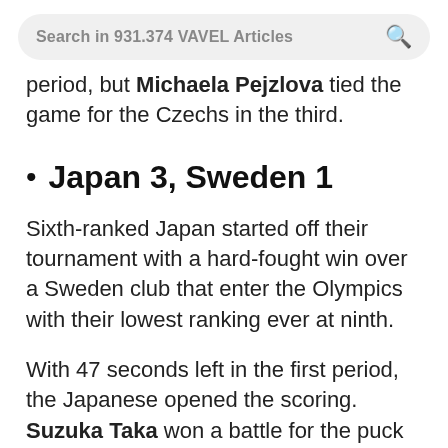Search in 931.374 VAVEL Articles
period, but Michaela Pejzlova tied the game for the Czechs in the third.
Japan 3, Sweden 1
Sixth-ranked Japan started off their tournament with a hard-fought win over a Sweden club that enter the Olympics with their lowest ranking ever at ninth.
With 47 seconds left in the first period, the Japanese opened the scoring. Suzuka Taka won a battle for the puck in the corner and found Chiori Koba…